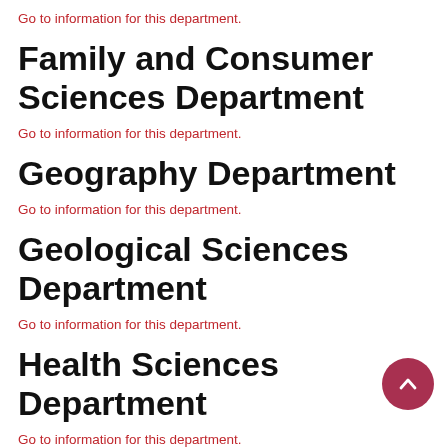Go to information for this department.
Family and Consumer Sciences Department
Go to information for this department.
Geography Department
Go to information for this department.
Geological Sciences Department
Go to information for this department.
Health Sciences Department
Go to information for this department.